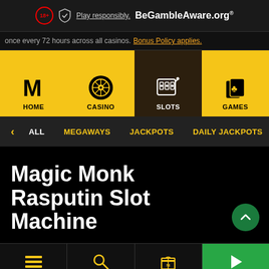[Figure (screenshot): Mobile casino website screenshot showing MansionCasino navigation with 18+ responsible gambling header, navigation tabs (HOME, CASINO, SLOTS active, GAMES), filter bar (ALL, MEGAWAYS, JACKPOTS, DAILY JACKPOTS), page title 'Magic Monk Rasputin Slot Machine', and bottom navigation bar (MENU, SEARCH, PROMOS, PLAY)]